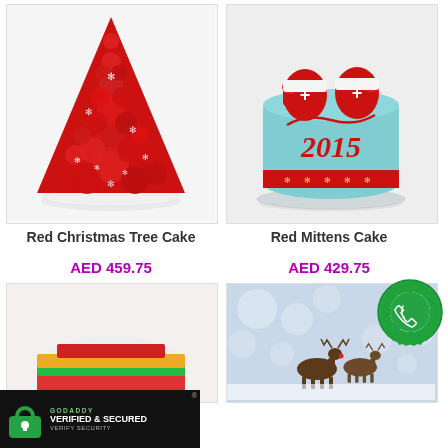[Figure (photo): Red Christmas Tree Cake — cone-shaped red rose swirl frosting cake with white snowflake decorations on white background]
[Figure (photo): Red Mittens Cake — light blue round cake with red mitten decorations and '2015' inscription, red snowflake band]
Red Christmas Tree Cake
Red Mittens Cake
AED 459.75
AED 429.75
[Figure (photo): Bottom left product card — partially visible cake image]
[Figure (photo): Bottom right product card — reindeer/Christmas scene with bokeh lights]
[Figure (logo): WhatsApp contact badge — green circular icon with chat bubble]
[Figure (logo): GoDaddy Verified & Secured banner — lock icon with green badge]